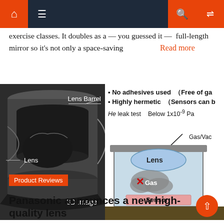Navigation bar with home, menu, search, and shuffle icons
exercise classes. It doubles as a — you guessed it — full-length mirror so it's not only a space-saving   Read more
[Figure (engineering-diagram): Left: 3D Image of a lens barrel cross-section showing Lens Barrel label at top and Lens label at bottom left. Right: Diagram showing no adhesives used (Free of gas), Highly hermetic (Sensors can be...), He leak test Below 1x10^-9 Pa, with Gas/Vac label, and a cross-section showing Lens (blue oval), Gas (cloud with X mark), Sensor (pink rectangle) inside a chamber.]
3D Image
Product Reviews
Panasonic announces a new high-quality lens